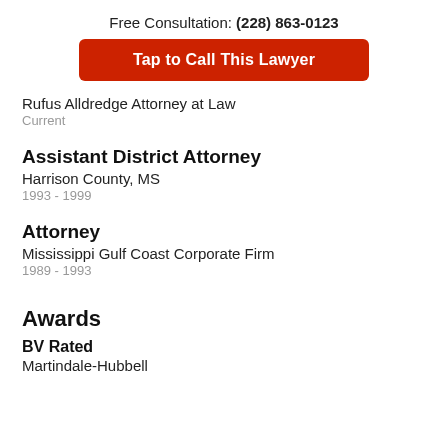Free Consultation: (228) 863-0123
Tap to Call This Lawyer
Rufus Alldredge Attorney at Law
Current
Assistant District Attorney
Harrison County, MS
1993 - 1999
Attorney
Mississippi Gulf Coast Corporate Firm
1989 - 1993
Awards
BV Rated
Martindale-Hubbell